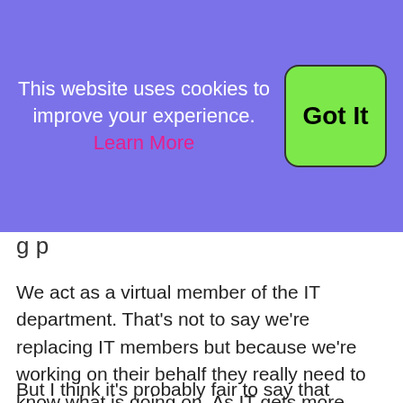[Figure (screenshot): Cookie consent banner with purple background. Text reads: 'This website uses cookies to improve your experience. Learn More' with a green 'Got It' button on the right.]
g p
We act as a virtual member of the IT department. That's not to say we're replacing IT members but because we're working on their behalf they really need to know what is going on. As IT gets more complex, in particular with the use of public clouds like Azure and Amazon coming along, you really need to have complete transparency as to what you're using and how you're using it and how that works so your customers have a good understanding of basically what's going on in the background.
But I think it's probably fair to say that transparency